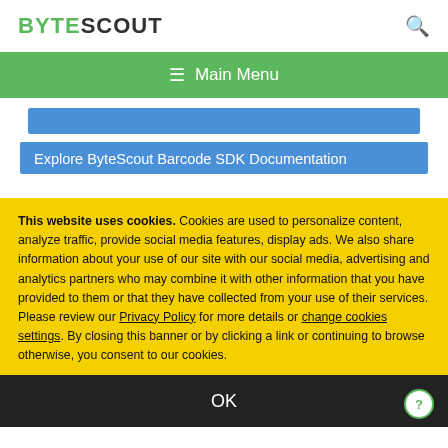BYTESCOUT
≡  Main Menu
[Figure (screenshot): Blue banner bar (partially visible, truncated)]
Explore ByteScout Barcode SDK Documentation
This website uses cookies. Cookies are used to personalize content, analyze traffic, provide social media features, display ads. We also share information about your use of our site with our social media, advertising and analytics partners who may combine it with other information that you have provided to them or that they have collected from your use of their services. Please review our Privacy Policy for more details or change cookies settings. By closing this banner or by clicking a link or continuing to browse otherwise, you consent to our cookies.
OK